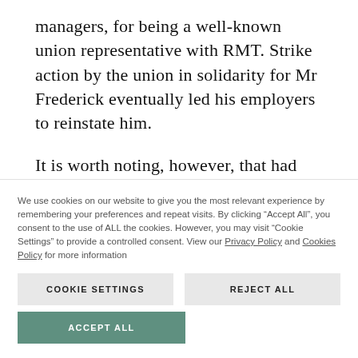managers, for being a well-known union representative with RMT. Strike action by the union in solidarity for Mr Frederick eventually led his employers to reinstate him.
It is worth noting, however, that had the strike action not achieved this, Mr Frederick
We use cookies on our website to give you the most relevant experience by remembering your preferences and repeat visits. By clicking “Accept All”, you consent to the use of ALL the cookies. However, you may visit “Cookie Settings” to provide a controlled consent. View our Privacy Policy and Cookies Policy for more information